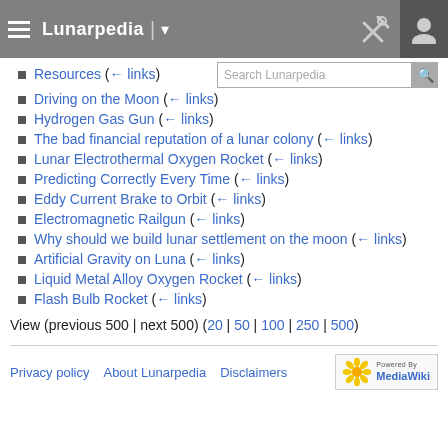Lunarpedia
Resources  (← links)
Driving on the Moon  (← links)
Hydrogen Gas Gun  (← links)
The bad financial reputation of a lunar colony  (← links)
Lunar Electrothermal Oxygen Rocket  (← links)
Predicting Correctly Every Time  (← links)
Eddy Current Brake to Orbit  (← links)
Electromagnetic Railgun  (← links)
Why should we build lunar settlement on the moon  (← links)
Artificial Gravity on Luna  (← links)
Liquid Metal Alloy Oxygen Rocket  (← links)
Flash Bulb Rocket  (← links)
View (previous 500 | next 500) (20 | 50 | 100 | 250 | 500)
Privacy policy   About Lunarpedia   Disclaimers